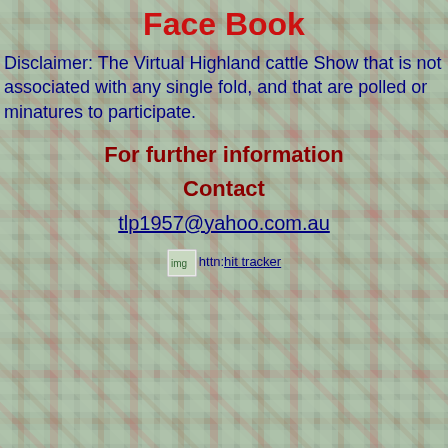Face Book
Disclaimer: The Virtual Highland cattle Show that is not associated with any single fold, and that are polled or minatures to participate.
For further information
Contact
tlp1957@yahoo.com.au
http: hit tracker